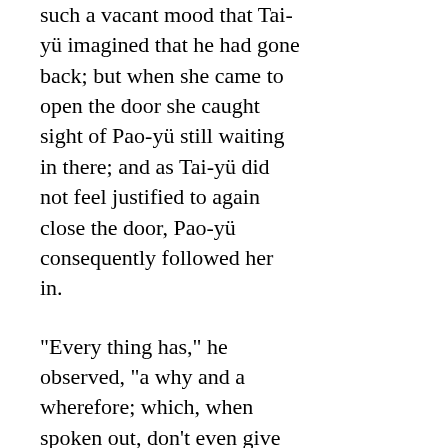such a vacant mood that Tai-yü imagined that he had gone back; but when she came to open the door she caught sight of Pao-yü still waiting in there; and as Tai-yü did not feel justified to again close the door, Pao-yü consequently followed her in.
“Every thing has,” he observed, “a why and a wherefore; which, when spoken out, don’t even give people pain; but you will rush into a rage, and all without any rhyme! but to what really does it owe its rise?”
“It’s well enough, after all, for you to ask me,” Tai-yü rejoined